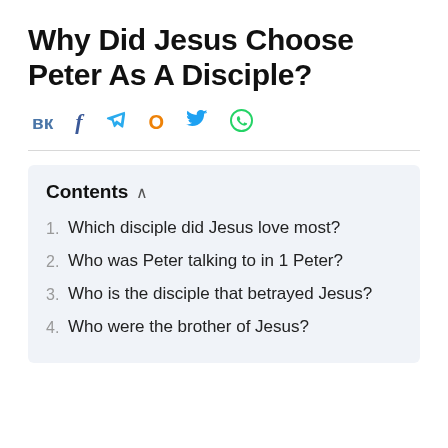Why Did Jesus Choose Peter As A Disciple?
[Figure (infographic): Social sharing icons row: VK (blue), Facebook (blue), Telegram (blue arrow), Odnoklassniki (orange), Twitter (blue bird), WhatsApp (green)]
Contents ^
1. Which disciple did Jesus love most?
2. Who was Peter talking to in 1 Peter?
3. Who is the disciple that betrayed Jesus?
4. Who were the brother of Jesus?